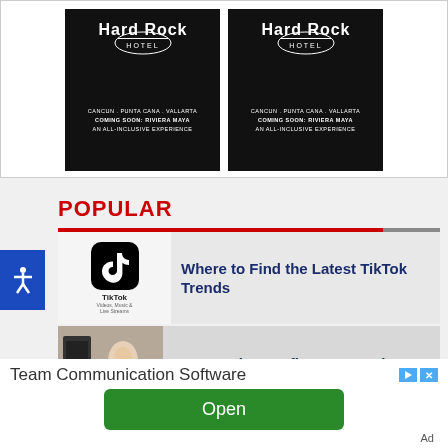[Figure (photo): Two Hard Rock Hotel advertisement images side by side, dark background with logo, text: CANCUN . PUNTA CANA . VALLARTA, COMING SOON: RIVIERA MAYA, AN ALL-INCLUSIVE EXPERIENCE]
POPULAR
[Figure (photo): TikTok app screenshot thumbnail]
Where to Find the Latest TikTok Trends
[Figure (photo): Photo of a person being photographed/filmed, influencer content shoot]
How Much Do Influencers Make Per Post?
Team Communication Software
Open
Ad